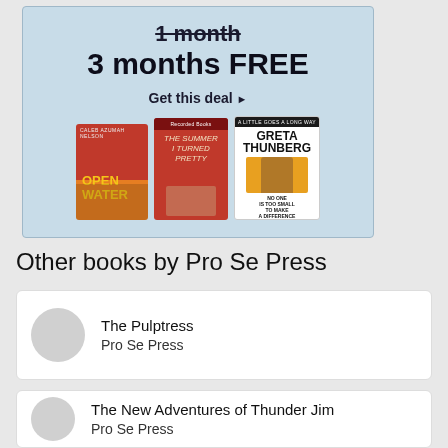[Figure (illustration): Advertisement banner with light blue background showing '1 month' struck through, '3 months FREE' in bold, 'Get this deal ▶' link, and three audiobook covers: Open Water, The Summer I Turned Pretty, and Greta Thunberg]
Other books by Pro Se Press
The Pulptress
Pro Se Press
The New Adventures of Thunder Jim
Pro Se Press